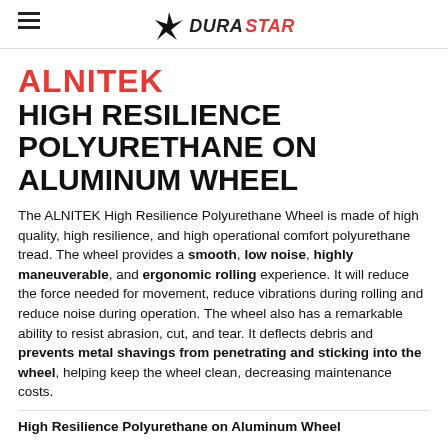DURASTAR logo with hamburger menu
ALNITEK HIGH RESILIENCE POLYURETHANE ON ALUMINUM WHEEL
The ALNITEK High Resilience Polyurethane Wheel is made of high quality, high resilience, and high operational comfort polyurethane tread. The wheel provides a smooth, low noise, highly maneuverable, and ergonomic rolling experience. It will reduce the force needed for movement, reduce vibrations during rolling and reduce noise during operation. The wheel also has a remarkable ability to resist abrasion, cut, and tear. It deflects debris and prevents metal shavings from penetrating and sticking into the wheel, helping keep the wheel clean, decreasing maintenance costs.
High Resilience Polyurethane on Aluminum Wheel